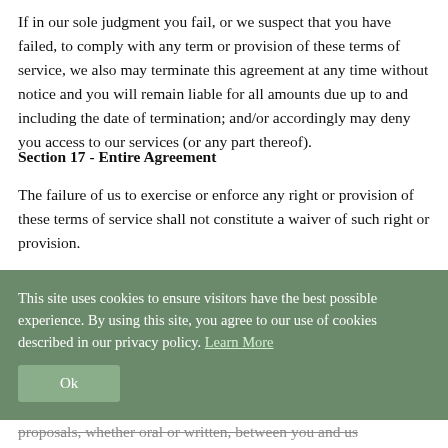If in our sole judgment you fail, or we suspect that you have failed, to comply with any term or provision of these terms of service, we also may terminate this agreement at any time without notice and you will remain liable for all amounts due up to and including the date of termination; and/or accordingly may deny you access to our services (or any part thereof).
Section 17 - Entire Agreement
The failure of us to exercise or enforce any right or provision of these terms of service shall not constitute a waiver of such right or provision.
This site uses cookies to ensure visitors have the best possible experience. By using this site, you agree to our use of cookies described in our privacy policy. Learn More
Ok
proposals, whether oral or written, between you and us